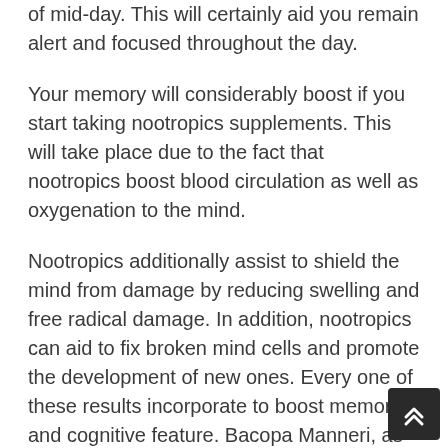of mid-day. This will certainly aid you remain alert and focused throughout the day.
Your memory will considerably boost if you start taking nootropics supplements. This will take place due to the fact that nootropics boost blood circulation as well as oxygenation to the mind.
Nootropics additionally assist to shield the mind from damage by reducing swelling and free radical damage. In addition, nootropics can aid to fix broken mind cells and promote the development of new ones. Every one of these results incorporate to boost memory and cognitive feature. Bacopa Manneri, as an example, is a nootropic that has actually been shown to enhance memory in healthy grownups in addition to those with memory problems.
Nootropics are a team of supplements that have